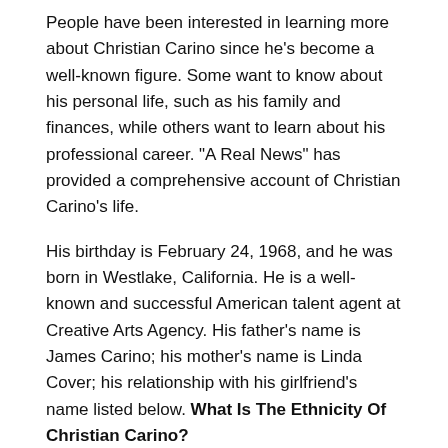People have been interested in learning more about Christian Carino since he's become a well-known figure. Some want to know about his personal life, such as his family and finances, while others want to learn about his professional career. "A Real News" has provided a comprehensive account of Christian Carino's life.
His birthday is February 24, 1968, and he was born in Westlake, California. He is a well-known and successful American talent agent at Creative Arts Agency. His father's name is James Carino; his mother's name is Linda Cover; his relationship with his girlfriend's name listed below. What Is The Ethnicity Of Christian Carino?
| Table of Contents |
| --- |